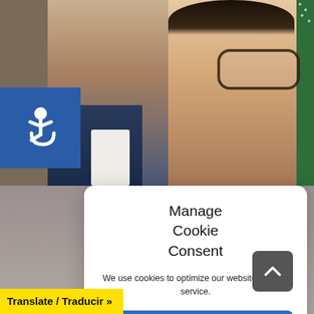[Figure (screenshot): Background photo showing two people (a man in a dark suit with pink tie and a woman with glasses and long hair) in the upper portion, and a woman with dark hair in the lower portion. A green floral fabric is visible on the right side.]
[Figure (illustration): Blue square accessibility icon (wheelchair symbol) in the upper-left corner.]
Manage Cookie Consent
We use cookies to optimize our website and our service.
Accept
Cookie Policy
Translate / Traducir »